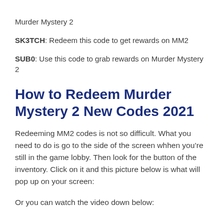Murder Mystery 2
SK3TCH: Redeem this code to get rewards on MM2
SUB0: Use this code to grab rewards on Murder Mystery 2
How to Redeem Murder Mystery 2 New Codes 2021
Redeeming MM2 codes is not so difficult. What you need to do is go to the side of the screen whhen you’re still in the game lobby. Then look for the button of the inventory. Click on it and this picture below is what will pop up on your screen:
Or you can watch the video down below: